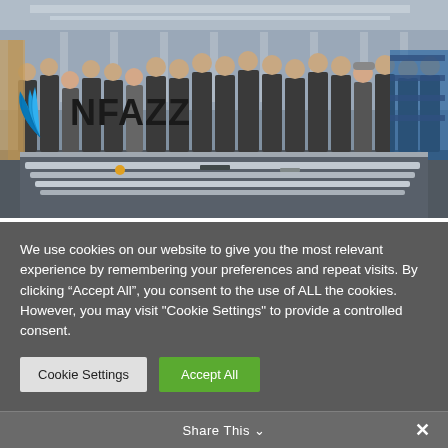[Figure (photo): Group photo of approximately 20 workers in grey uniforms standing in a factory/warehouse workshop setting, with metal rails and equipment on a work table in the foreground. The NFAZZ logo with blue wing design is overlaid in the lower left of the image.]
We use cookies on our website to give you the most relevant experience by remembering your preferences and repeat visits. By clicking “Accept All”, you consent to the use of ALL the cookies. However, you may visit "Cookie Settings" to provide a controlled consent.
Cookie Settings
Accept All
Share This ∨
×